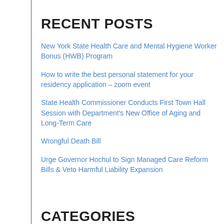RECENT POSTS
New York State Health Care and Mental Hygiene Worker Bonus (HWB) Program
How to write the best personal statement for your residency application – zoom event
State Health Commissioner Conducts First Town Hall Session with Department's New Office of Aging and Long-Term Care
Wrongful Death Bill
Urge Governor Hochul to Sign Managed Care Reform Bills & Veto Harmful Liability Expansion
CATEGORIES
ACADEMY (45)